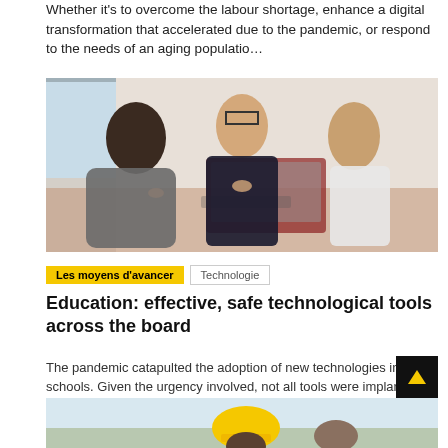Whether it's to overcome the labour shortage, enhance a digital transformation that accelerated due to the pandemic, or respond to the needs of an aging populatio…
[Figure (photo): An adult woman with glasses leaning over a table with two younger girls, looking at a laptop or tablet together in a home or classroom setting.]
Les moyens d'avancer
Technologie
Education: effective, safe technological tools across the board
The pandemic catapulted the adoption of new technologies in schools. Given the urgency involved, not all tools were implanted effectively, however. The time has now come to…
[Figure (photo): Partial bottom image showing a person in a yellow hard hat, partially cropped at the bottom of the page.]